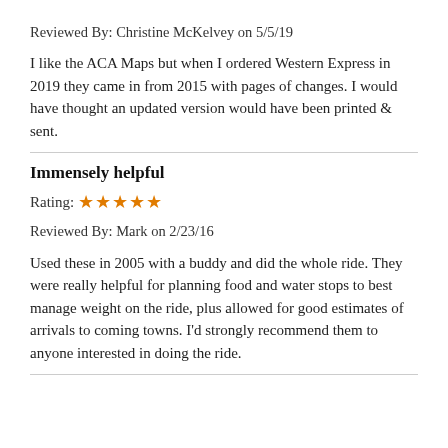Reviewed By: Christine McKelvey on 5/5/19
I like the ACA Maps but when I ordered Western Express in 2019 they came in from 2015 with pages of changes. I would have thought an updated version would have been printed & sent.
Immensely helpful
Rating: ★★★★★
Reviewed By: Mark on 2/23/16
Used these in 2005 with a buddy and did the whole ride. They were really helpful for planning food and water stops to best manage weight on the ride, plus allowed for good estimates of arrivals to coming towns. I'd strongly recommend them to anyone interested in doing the ride.